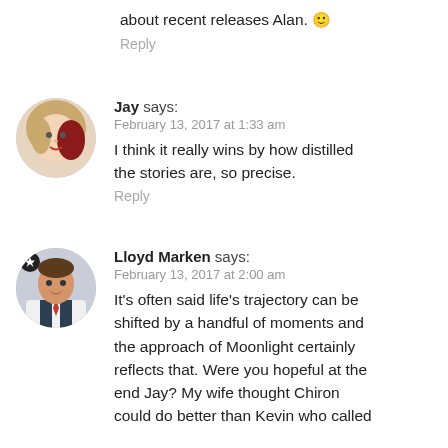about recent releases Alan. 🙂
Reply
Jay says:
February 13, 2017 at 1:33 am
I think it really wins by how distilled the stories are, so precise.
Reply
Lloyd Marken says:
February 13, 2017 at 2:00 am
It's often said life's trajectory can be shifted by a handful of moments and the approach of Moonlight certainly reflects that. Were you hopeful at the end Jay? My wife thought Chiron could do better than Kevin who called
Reply